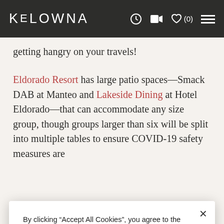KELOWNA (0)
getting hangry on your travels!
Eldorado Resort has large patio spaces—Smack DAB at Manteo and Lakeside Dining at Hotel Eldorado—that can accommodate any size group, though groups larger than six will be split into multiple tables to ensure COVID-19 safety measures are
By clicking “Accept All Cookies”, you agree to the storing of cookies on your device to enhance site navigation, analyze site usage, and assist in our marketing efforts.
Accept All Cookies
Cookies Settings